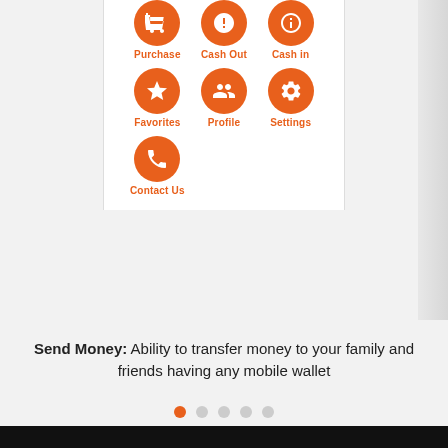[Figure (screenshot): Mobile app icons grid showing: Purchase, Cash Out, Cash in, Favorites, Profile, Settings, Contact Us — orange circle icons with white symbols and orange labels]
Send Money: Ability to transfer money to your family and friends having any mobile wallet
By continuing to browse or by clicking Accept All Cookies, you agree to the storing of first- and third-party cookies on your device to enhance site navigation, analyze site usage, and assist in our marketing efforts. (Cookies Policy).
Privacy Preferences
Accept